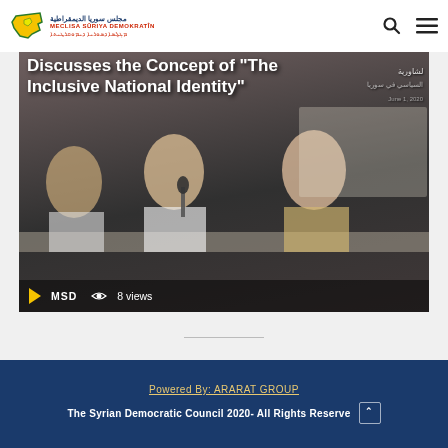MSD - Meclisa Sûriya Demokratîn (Syrian Democratic Council) — header navigation with logo, search and menu icons
[Figure (photo): Hero image showing a panel discussion or conference. Several people (men and women) are seated at a table with microphones. Overlaid text reads: 'Discusses the Concept of "The Inclusive National Identity"'. Arabic text visible on right side overlay. Bottom bar shows MSD label, eye icon and '8 views'. Background shows a presentation screen with Arabic text.]
Powered By: ARARAT GROUP
The Syrian Democratic Council 2020- All Rights Reserved